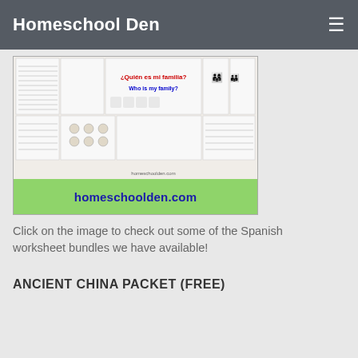Homeschool Den
[Figure (screenshot): Spanish worksheet bundle preview image showing multiple worksheets with title '¿Quién es mi familia? Who is my family?' and homeschoolden.com branding on a green banner at the bottom]
Click on the image to check out some of the Spanish worksheet bundles we have available!
ANCIENT CHINA PACKET (FREE)